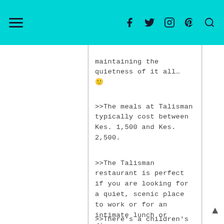≡ [navigation icons: facebook, twitter, instagram, pinterest, search]
maintaining the quietness of it all… 🙂
>>The meals at Talisman typically cost between Kes. 1,500 and Kes. 2,500.
>>The Talisman restaurant is perfect if you are looking for a quiet, scenic place to work or for an intimate lunch or dinner.
>>There's a children's play area, so it can work well for a family outing as well.
We finished off our lunch with